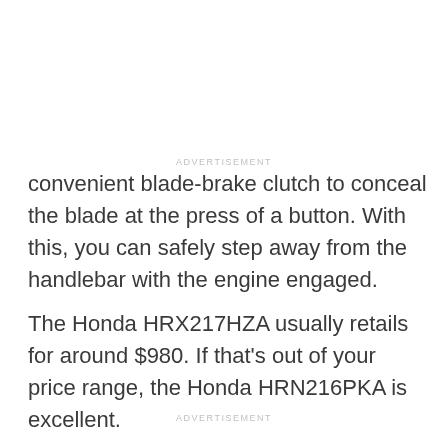ADVERTISEMENT
convenient blade-brake clutch to conceal the blade at the press of a button. With this, you can safely step away from the handlebar with the engine engaged.
The Honda HRX217HZA usually retails for around $980. If that's out of your price range, the Honda HRN216PKA is excellent.
ADVERTISEMENT